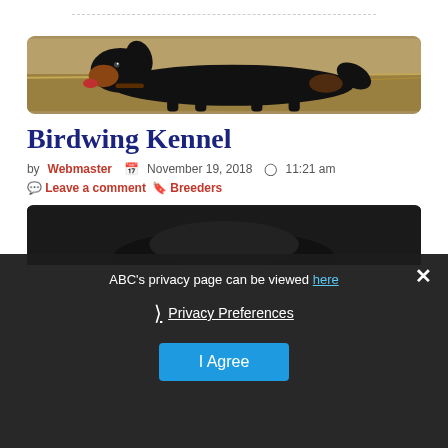[Figure (photo): Dashed line separator at top of page]
[Figure (photo): Black and tan dog (Gordon Setter or similar breed) running in a field with dry grass background, banner photo for Birdwing Kennel post]
Birdwing Kennel
by Webmaster  📅 November 19, 2018  ⏰ 11:21 am
💬 Leave a comment  🔖 Breeders
[Figure (screenshot): Privacy consent overlay banner with dark background showing: "ABC's privacy page can be viewed here", a close (X) button, "Privacy Preferences" link with right-arrow, and a cyan "I Agree" button]
[Figure (photo): Partial view of a second dog photo (dark colored dog) visible beneath the privacy overlay]